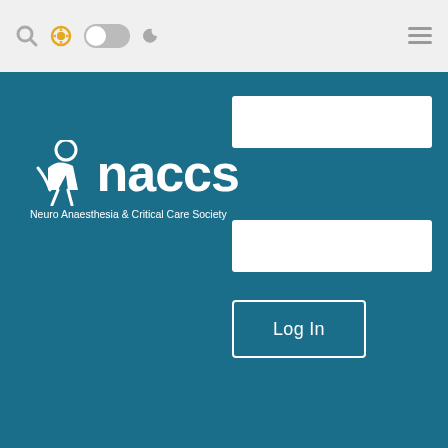[Figure (screenshot): Website toolbar with search icon, gear/settings icon (yellow), toggle switch, moon icon, and hamburger menu on the right]
[Figure (logo): NACCS - Neuro Anaesthesia & Critical Care Society logo in white on teal/blue background, with login form fields and Log In button on the right]
| Average Age/years (SD) | CP – 30.6 (7.3) | 54.5 | CP – 29.2 (6.4) |
|  | RP – 33.4 (6.6) |  | RP – 30.9 (6.3) |
| Length of stay/days | 6.2 (mean) | 4.9 (mean) | CP – 1.9 (median) |